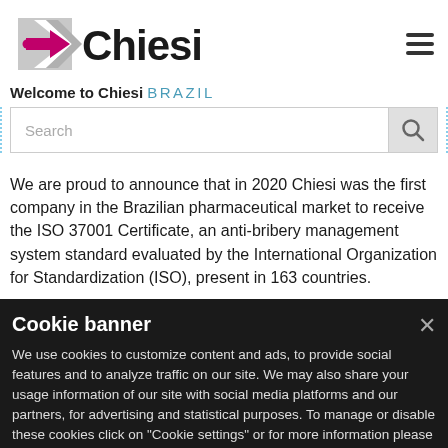[Figure (logo): Chiesi pharmaceutical company logo with grey chevron and pink arrow, followed by bold 'Chiesi' text]
Welcome to Chiesi BRAZIL
We are proud to announce that in 2020 Chiesi was the first company in the Brazilian pharmaceutical market to receive the ISO 37001 Certificate, an anti-bribery management system standard evaluated by the International Organization for Standardization (ISO), present in 163 countries.
Cookie banner
We use cookies to customize content and ads, to provide social features and to analyze traffic on our site. We may also share your usage information of our site with social media platforms and our partners, for advertising and statistical purposes. To manage or disable these cookies click on "Cookie settings" or for more information please visit our Cookie Policy.